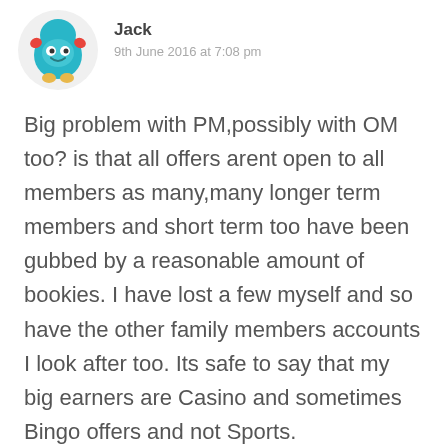Jack
9th June 2016 at 7:08 pm
Big problem with PM,possibly with OM too? is that all offers arent open to all members as many,many longer term members and short term too have been gubbed by a reasonable amount of bookies. I have lost a few myself and so have the other family members accounts I look after too. Its safe to say that my big earners are Casino and sometimes Bingo offers and not Sports.